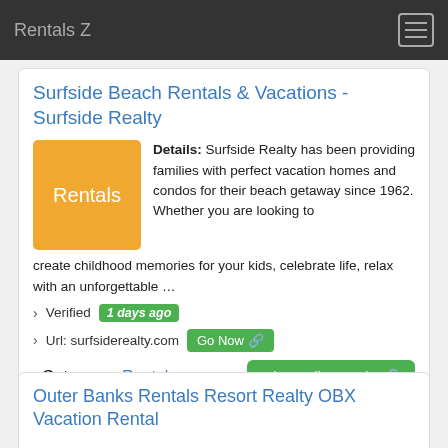Rentals Z
Surfside Beach Rentals & Vacations - Surfside Realty
[Figure (illustration): Orange square thumbnail with white text 'Rentals']
Details: Surfside Realty has been providing families with perfect vacation homes and condos for their beach getaway since 1962. Whether you are looking to create childhood memories for your kids, celebrate life, relax with an unforgettable …
› Verified  1 days ago
› Url: surfsiderealty.com  Go Now
› Get more:  Rentals   Show All Rentals
Outer Banks Rentals Resort Realty OBX Vacation Rental